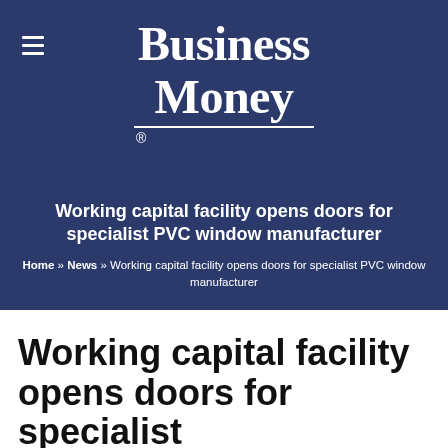Business Money
Working capital facility opens doors for specialist PVC window manufacturer
Home » News » Working capital facility opens doors for specialist PVC window manufacturer
Working capital facility opens doors for specialist